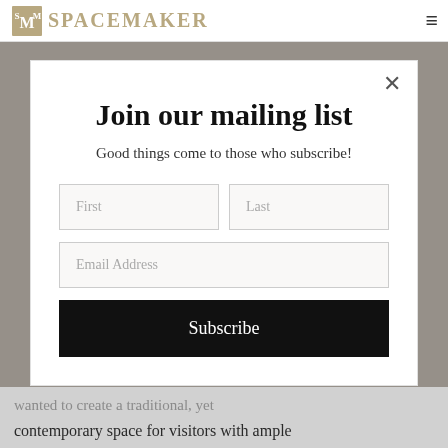SpaceMaker
Join our mailing list
Good things come to those who subscribe!
First | Last | Email Address | Subscribe
wanted to create a traditional, yet contemporary space for visitors with ample